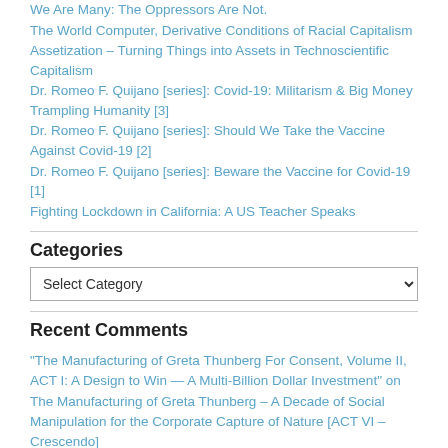We Are Many: The Oppressors Are Not.
The World Computer, Derivative Conditions of Racial Capitalism
Assetization – Turning Things into Assets in Technoscientific Capitalism
Dr. Romeo F. Quijano [series]: Covid-19: Militarism & Big Money Trampling Humanity [3]
Dr. Romeo F. Quijano [series]: Should We Take the Vaccine Against Covid-19 [2]
Dr. Romeo F. Quijano [series]: Beware the Vaccine for Covid-19 [1]
Fighting Lockdown in California: A US Teacher Speaks
Categories
Select Category
Recent Comments
"The Manufacturing of Greta Thunberg For Consent, Volume II, ACT I: A Design to Win — A Multi-Billion Dollar Investment" on The Manufacturing of Greta Thunberg – A Decade of Social Manipulation for the Corporate Capture of Nature [ACT VI – Crescendo]
Intercepting The Intercept | mill u on The De-Klein of a Revolutionary Writer: From Subcomandante Marcos to Angel Gurria
Western Regime-Change Operatives Launch Campaign To Blame